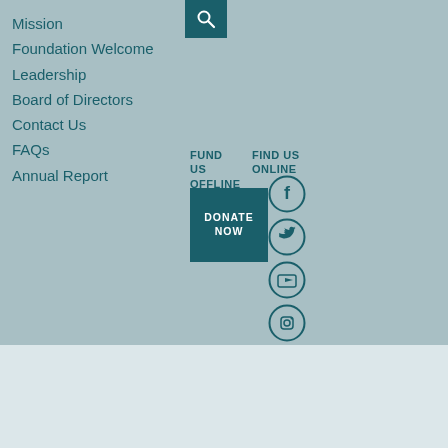Mission
Foundation Welcome
Leadership
Board of Directors
Contact Us
FAQs
Annual Report
FUND US OFFLINE
FIND US ONLINE
DONATE NOW
[Figure (logo): Atrium Health Foundation logo with leaf emblem]
209 East Blvd...